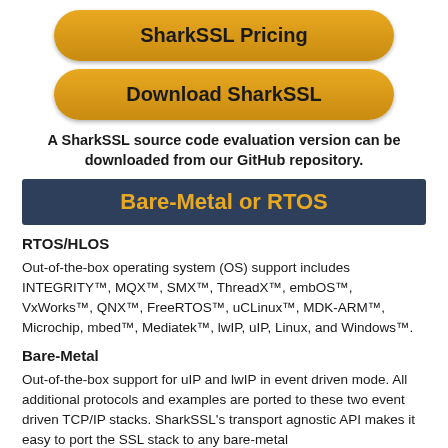[Figure (other): Golden rounded rectangle button labeled 'SharkSSL Pricing']
[Figure (other): Golden rounded rectangle button labeled 'Download SharkSSL']
A SharkSSL source code evaluation version can be downloaded from our GitHub repository.
Bare-Metal or RTOS
RTOS/HLOS
Out-of-the-box operating system (OS) support includes INTEGRITY™, MQX™, SMX™, ThreadX™, embOS™, VxWorks™, QNX™, FreeRTOS™, uCLinux™, MDK-ARM™, Microchip, mbed™, Mediatek™, lwIP, uIP, Linux, and Windows™.
Bare-Metal
Out-of-the-box support for uIP and lwIP in event driven mode. All additional protocols and examples are ported to these two event driven TCP/IP stacks. SharkSSL's transport agnostic API makes it easy to port the SSL stack to any bare-metal